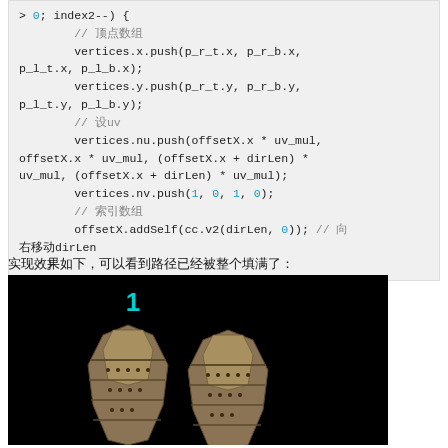for (int index2 = path.tileStrLength - 1; index2 > 0; index2--) {
        // 顶点数组
        vertices.x.push(p_r_t.x, p_r_b.x, p_l_t.x, p_l_b.x);
        vertices.y.push(p_r_t.y, p_r_b.y, p_l_t.y, p_l_b.y);
        // 设uv
        vertices.nu.push(offsetX.x * uv_mul, offsetX.x * uv_mul, (offsetX.x + dirLen) * uv_mul, (offsetX.x + dirLen) * uv_mul);
        vertices.nv.push(1, 0, 1, 0);
        // 索引数组
        offsetX.addSelf(cc.v2(dirLen, 0)); // 向右移动dirLen
    }
实现效果如下，可以看到路径已经被整个填满了：
[Figure (photo): A dark black background showing a 3D rendered image of what appears to be two crossed or angled medieval/fantasy leg armor pieces (greaves) in brown/tan colors, with a white '1' label at the top.]